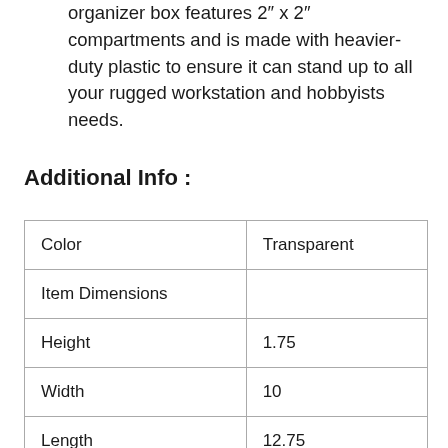organizer box features 2" x 2" compartments and is made with heavier-duty plastic to ensure it can stand up to all your rugged workstation and hobbyists needs.
Additional Info :
| Color | Transparent |
| Item Dimensions |  |
| Height | 1.75 |
| Width | 10 |
| Length | 12.75 |